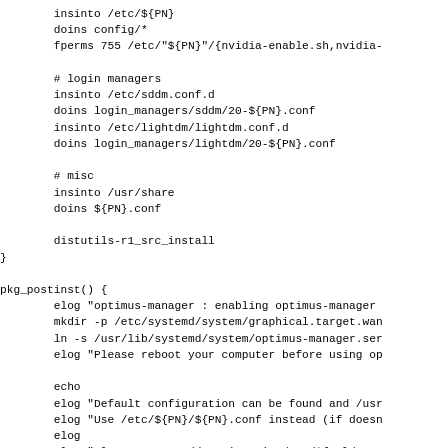insinto /etc/${PN}
        doins config/*
        fperms 755 /etc/"${PN}"/{nvidia-enable.sh,nvidia-

        # login managers
        insinto /etc/sddm.conf.d
        doins login_managers/sddm/20-${PN}.conf
        insinto /etc/lightdm/lightdm.conf.d
        doins login_managers/lightdm/20-${PN}.conf

        # misc
        insinto /usr/share
        doins ${PN}.conf

        distutils-r1_src_install
}

pkg_postinst() {
        elog "optimus-manager : enabling optimus-manager
        mkdir -p /etc/systemd/system/graphical.target.wan
        ln -s /usr/lib/systemd/system/optimus-manager.ser
        elog "Please reboot your computer before using op

        echo
        elog "Default configuration can be found and /usr
        elog "Use /etc/${PN}/${PN}.conf instead (if doesn
        elog
        elog "Also you can add options in /etc/${PN}/xorg
        elog "If you're using KDE Plasma or LXQt, you may
        elog "If you're using Gnome, you can install the